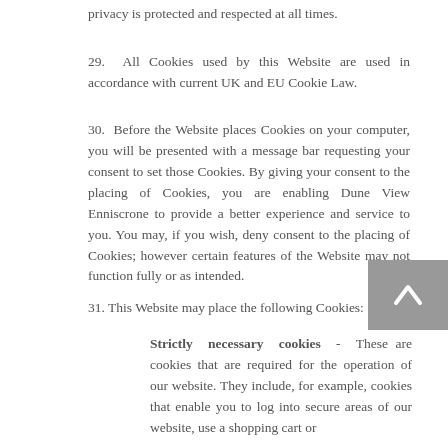privacy is protected and respected at all times.
29. All Cookies used by this Website are used in accordance with current UK and EU Cookie Law.
30. Before the Website places Cookies on your computer, you will be presented with a message bar requesting your consent to set those Cookies. By giving your consent to the placing of Cookies, you are enabling Dune View Enniscrone to provide a better experience and service to you. You may, if you wish, deny consent to the placing of Cookies; however certain features of the Website may not function fully or as intended.
31. This Website may place the following Cookies:
Strictly necessary cookies - These are cookies that are required for the operation of our website. They include, for example, cookies that enable you to log into secure areas of our website, use a shopping cart or